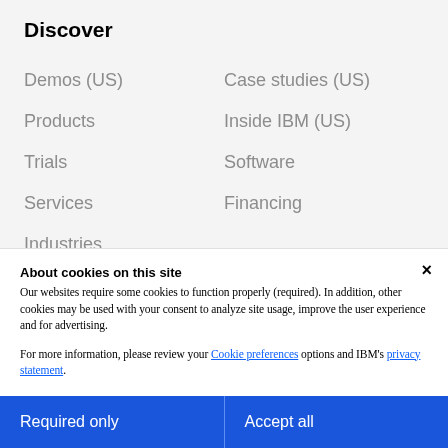Discover
Demos (US)
Case studies (US)
Products
Inside IBM (US)
Trials
Software
Services
Financing
Industries
About cookies on this site
Our websites require some cookies to function properly (required). In addition, other cookies may be used with your consent to analyze site usage, improve the user experience and for advertising.

For more information, please review your Cookie preferences options and IBM's privacy statement.
Required only
Accept all